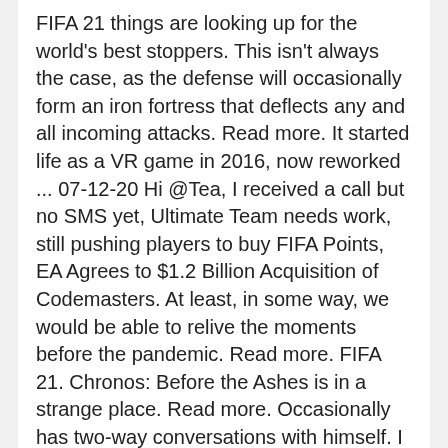FIFA 21 things are looking up for the world's best stoppers. This isn't always the case, as the defense will occasionally form an iron fortress that deflects any and all incoming attacks. Read more. It started life as a VR game in 2016, now reworked ... 07-12-20 Hi @Tea, I received a call but no SMS yet, Ultimate Team needs work, still pushing players to buy FIFA Points, EA Agrees to $1.2 Billion Acquisition of Codemasters. At least, in some way, we would be able to relive the moments before the pandemic. Read more. FIFA 21. Chronos: Before the Ashes is in a strange place. Read more. Occasionally has two-way conversations with himself. I cover sports video games like NBA 2K, Madden, MLB The Show, FIFA, NHL, EA UFC, Fight Night, Super Mega Baseball, DIRT, F1, NASCAR, Forza, and everything in between. Turn-based ... 10-12-20 With another arrangement of exceptional